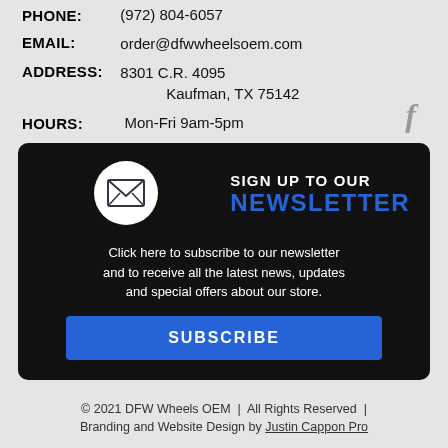PHONE: (972) 804-6057
EMAIL: order@dfwwheelsoem.com
ADDRESS: 8301 C.R. 4095 Kaufman, TX 75142
HOURS: Mon-Fri 9am-5pm
[Figure (illustration): Newsletter signup box with envelope icon, text 'SIGN UP TO OUR NEWSLETTER', subscribe button]
Click here to subscribe to our newsletter and to receive all the latest news, updates and special offers about our store.
© 2021 DFW Wheels OEM | All Rights Reserved | Branding and Website Design by Justin Cappon Pro